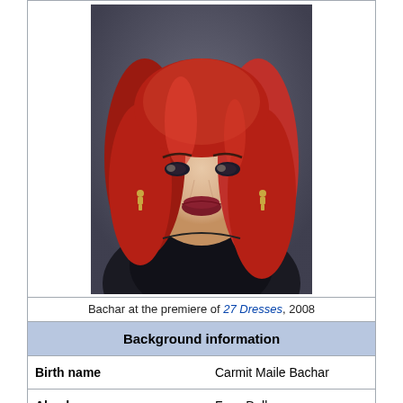[Figure (photo): Portrait photo of Carmit Bachar with red hair wearing a black outfit]
Bachar at the premiere of 27 Dresses, 2008
| Background information |
| --- |
| Birth name | Carmit Maile Bachar |
| Also known as | Foxy Doll |
| Born | September 4, 1974 (age 47) |
|  | Los Angeles, California |